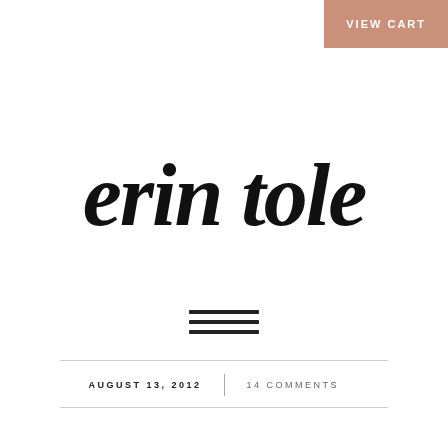VIEW CART
erin tole
[Figure (illustration): Hamburger menu icon — three horizontal parallel lines centered on the page]
AUGUST 13, 2012 | 14 COMMENTS